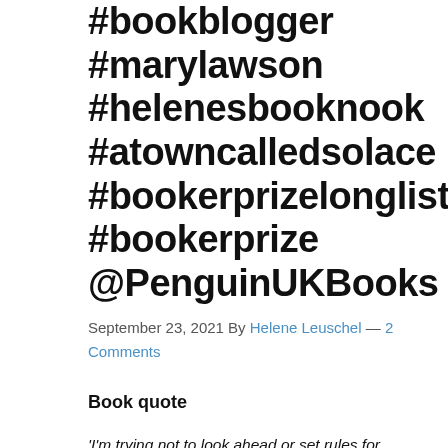#bookblogger #marylawson #helenesbooknook #atowncalledsolace #bookerprizelonglist #bookerprize @PenguinUKBooks
September 23, 2021 By Helene Leuschel — 2 Comments
Book quote
'I'm trying not to look ahead or set rules for myself.